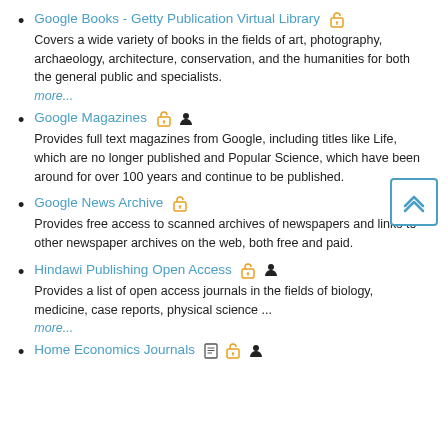Google Books - Getty Publication Virtual Library — Covers a wide variety of books in the fields of art, photography, archaeology, architecture, conservation, and the humanities for both the general public and specialists. more...
Google Magazines — Provides full text magazines from Google, including titles like Life, which are no longer published and Popular Science, which have been around for over 100 years and continue to be published.
Google News Archive — Provides free access to scanned archives of newspapers and links to other newspaper archives on the web, both free and paid.
Hindawi Publishing Open Access — Provides a list of open access journals in the fields of biology, medicine, case reports, physical science ... more...
Home Economics Journals